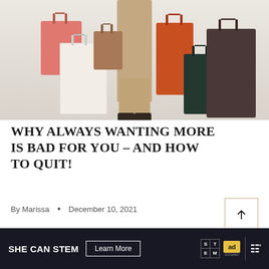[Figure (photo): A person from the waist down wearing beige/tan trousers and dark shoes, holding multiple shopping bags on both sides — pink, white, brown, orange, dark green, and dark brown/charcoal bags.]
WHY ALWAYS WANTING MORE IS BAD FOR YOU – AND HOW TO QUIT!
By Marissa • December 10, 2021
SHE CAN STEM   Learn More